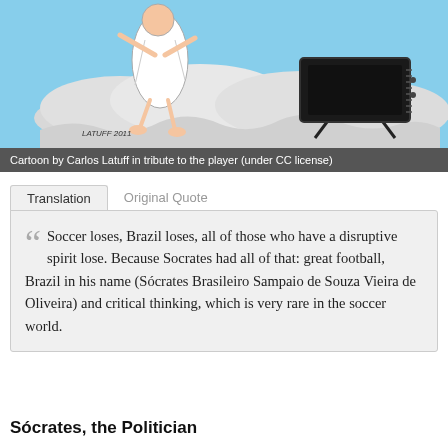[Figure (illustration): Cartoon by Carlos Latuff (2011) showing a figure in white robes on a cloud next to a television set on a stand, blue sky background. Signed 'LATUFF 2011'.]
Cartoon by Carlos Latuff in tribute to the player (under CC license)
Translation | Original Quote (tabs)
Soccer loses, Brazil loses, all of those who have a disruptive spirit lose. Because Socrates had all of that: great football, Brazil in his name (Sócrates Brasileiro Sampaio de Souza Vieira de Oliveira) and critical thinking, which is very rare in the soccer world.
Sócrates, the Politician